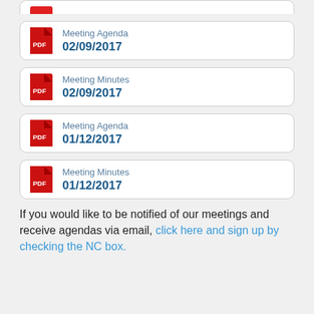Meeting Agenda 02/09/2017
Meeting Minutes 02/09/2017
Meeting Agenda 01/12/2017
Meeting Minutes 01/12/2017
If you would like to be notified of our meetings and receive agendas via email, click here and sign up by checking the NC box.